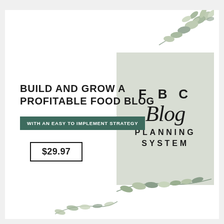[Figure (illustration): Decorative botanical leaves at top right and bottom of page]
[Figure (logo): FBC Blog Planning System logo on sage green square background with script 'Blog' text]
BUILD AND GROW A PROFITABLE FOOD BLOG
WITH AN EASY TO IMPLEMENT STRATEGY
$29.97